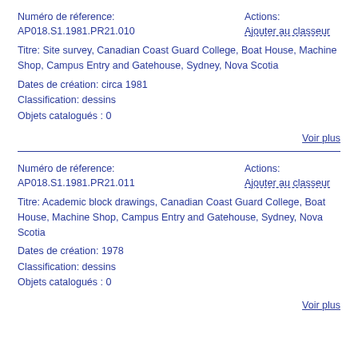Numéro de réference: AP018.S1.1981.PR21.010
Actions: Ajouter au classeur
Titre: Site survey, Canadian Coast Guard College, Boat House, Machine Shop, Campus Entry and Gatehouse, Sydney, Nova Scotia
Dates de création: circa 1981
Classification: dessins
Objets catalogués : 0
Voir plus
Numéro de réference: AP018.S1.1981.PR21.011
Actions: Ajouter au classeur
Titre: Academic block drawings, Canadian Coast Guard College, Boat House, Machine Shop, Campus Entry and Gatehouse, Sydney, Nova Scotia
Dates de création: 1978
Classification: dessins
Objets catalogués : 0
Voir plus